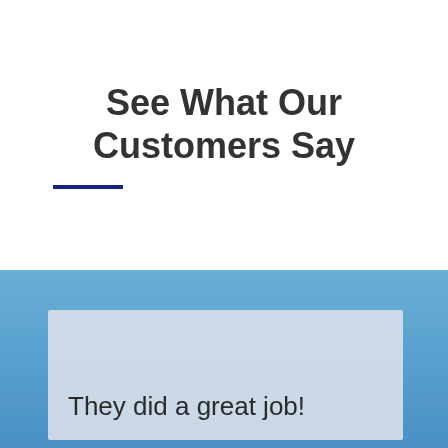See What Our Customers Say
[Figure (photo): Blue sky background photo visible in the lower half of the page, behind a testimonial card]
They did a great job!